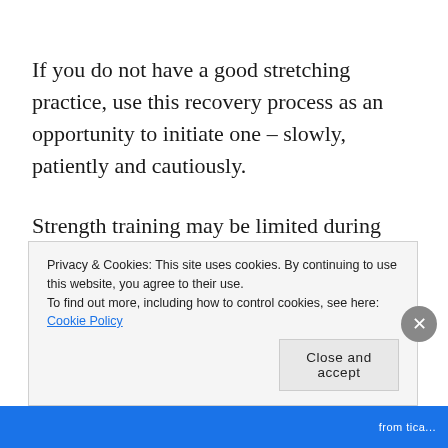If you do not have a good stretching practice, use this recovery process as an opportunity to initiate one – slowly, patiently and cautiously.
Strength training may be limited during recovery – depending on the nature of the injury. The emphasis again is on caution, patience and creativity.  If you are able to exercise aerobically, rest assured that you will
Privacy & Cookies: This site uses cookies. By continuing to use this website, you agree to their use.
To find out more, including how to control cookies, see here: Cookie Policy
Close and accept